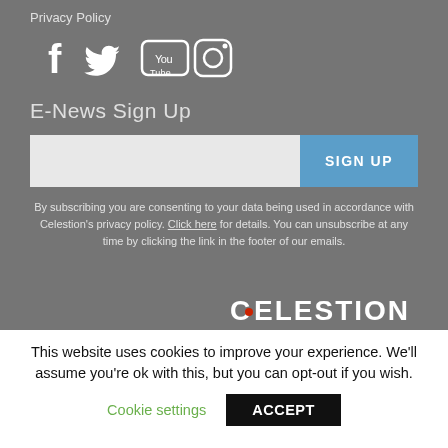Privacy Policy
[Figure (illustration): Social media icons: Facebook, Twitter, YouTube, Instagram]
E-News Sign Up
[Figure (screenshot): Email input field and SIGN UP button]
By subscribing you are consenting to your data being used in accordance with Celestion's privacy policy. Click here for details. You can unsubscribe at any time by clicking the link in the footer of our emails.
[Figure (logo): Celestion logo in white with red dot on C]
This website uses cookies to improve your experience. We'll assume you're ok with this, but you can opt-out if you wish.
Cookie settings
ACCEPT